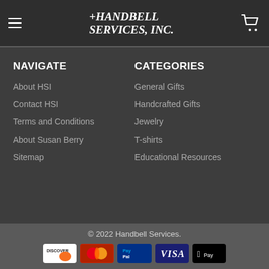Handbell Services, Inc.
NAVIGATE
About HSI
Contact HSI
Terms and Conditions
About Susan Berry
Sitemap
CATEGORIES
General Gifts
Handcrafted Gifts
Jewelry
T-shirts
Educational Resources
© 2022 Handbell Services.